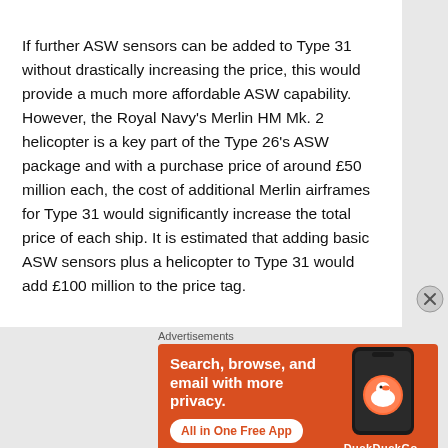If further ASW sensors can be added to Type 31 without drastically increasing the price, this would provide a much more affordable ASW capability. However, the Royal Navy's Merlin HM Mk. 2 helicopter is a key part of the Type 26's ASW package and with a purchase price of around £50 million each, the cost of additional Merlin airframes for Type 31 would significantly increase the total price of each ship. It is estimated that adding basic ASW sensors plus a helicopter to Type 31 would add £100 million to the price tag.
[Figure (other): DuckDuckGo advertisement banner: orange background with text 'Search, browse, and email with more privacy. All in One Free App' and a DuckDuckGo logo on a phone graphic.]